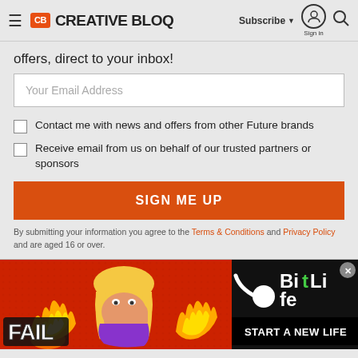Creative Bloq — Subscribe | Sign in | Search
offers, direct to your inbox!
Your Email Address
Contact me with news and offers from other Future brands
Receive email from us on behalf of our trusted partners or sponsors
SIGN ME UP
By submitting your information you agree to the Terms & Conditions and Privacy Policy and are aged 16 or over.
[Figure (screenshot): BitLife advertisement banner — 'FAIL' text on left with cartoon blonde character covering face, flames in center, BitLife logo on right with 'START A NEW LIFE' tagline on black background, red textured background throughout]